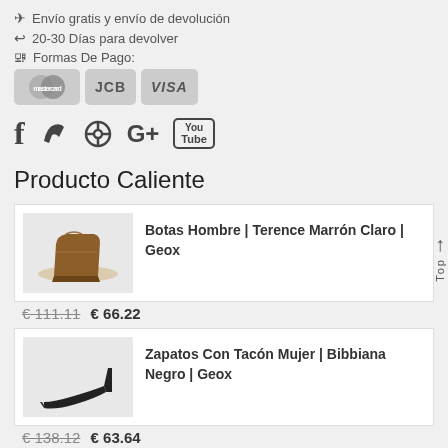✈ Envío gratis y envío de devolución
↩ 20-30 Días para devolver
🖳 Formas De Pago:
[Figure (other): Payment method icons: MasterCard, JCB, VISA]
[Figure (other): Social media icons: Facebook, Twitter, Pinterest, Google+, YouTube]
Producto Caliente
[Figure (photo): Brown leather men's ankle boot - Botas Hombre Terence]
Botas Hombre | Terence Marrón Claro | Geox
€ 111.11  € 66.22
[Figure (photo): Black high-heel women's shoe - Zapatos Con Tacón Mujer Bibbiana]
Zapatos Con Tacón Mujer | Bibbiana Negro | Geox
€ 138.12  € 63.64